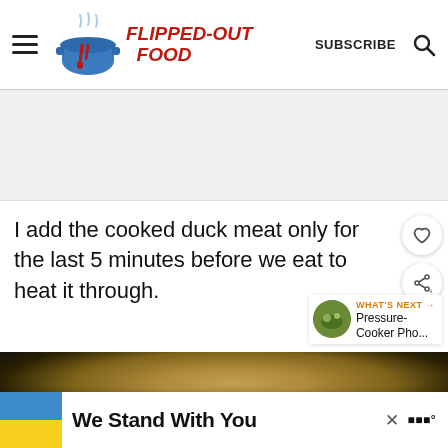Flipped-Out Food | SUBSCRIBE
[Figure (other): Advertisement placeholder gray box area]
I add the cooked duck meat only for the last 5 minutes before we eat to heat it through.
[Figure (photo): Close-up photo of the inside of a shiny metal pot or bowl, lit from above, against a dark background]
[Figure (other): Advertisement banner at bottom: Ukrainian flag colors on left, text 'We Stand With You', close button X, logo on right]